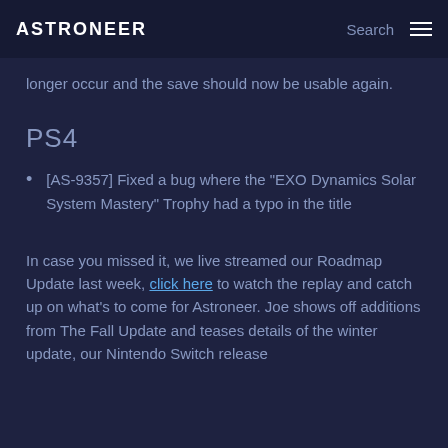ASTRONEER  Search ☰
longer occur and the save should now be usable again.
PS4
[AS-9357] Fixed a bug where the "EXO Dynamics Solar System Mastery" Trophy had a typo in the title
In case you missed it, we live streamed our Roadmap Update last week, click here to watch the replay and catch up on what's to come for Astroneer. Joe shows off additions from The Fall Update and teases details of the winter update, our Nintendo Switch release